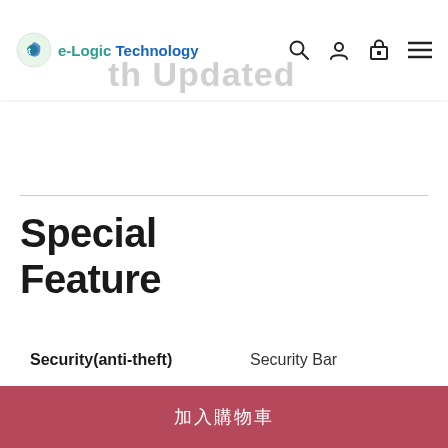e-Logic Technology
Special Feature
|  |  |
| --- | --- |
| Security(anti-theft) | Security Bar |
| Feature | Digital Shrin Control ID S Control, 360 |
加入購物車